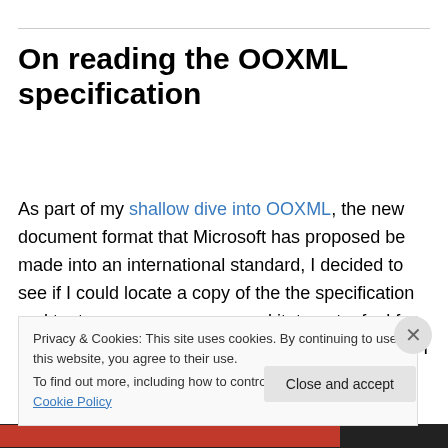On reading the OOXML specification
As part of my shallow dive into OOXML, the new document format that Microsoft has proposed be made into an international standard, I decided to see if I could locate a copy of the the specification and try to wrap my arms around it, to get a feel for what the community was being asked to deal with. I also wanted to see if I could do
Privacy & Cookies: This site uses cookies. By continuing to use this website, you agree to their use.
To find out more, including how to control cookies, see here: Cookie Policy
Close and accept